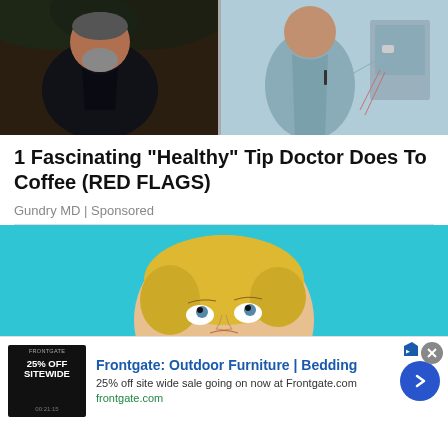[Figure (photo): Two-panel photo: left side shows a heavy-set bearded man in a dark shirt outdoors; right side shows a slimmer man in medical/surgical scrubs in a clinical setting]
1 Fascinating "Healthy" Tip Doctor Does To Coffee (RED FLAGS)
Gundry MD | Sponsored
[Figure (photo): Cropped photo of a blonde woman looking upward against a bright turquoise/blue background]
[Figure (photo): Bottom advertisement banner for Frontgate: Outdoor Furniture | Bedding with thumbnail showing 25% OFF SITEWIDE text on dark background]
Frontgate: Outdoor Furniture | Bedding
25% off site wide sale going on now at Frontgate.com
frontgate.com